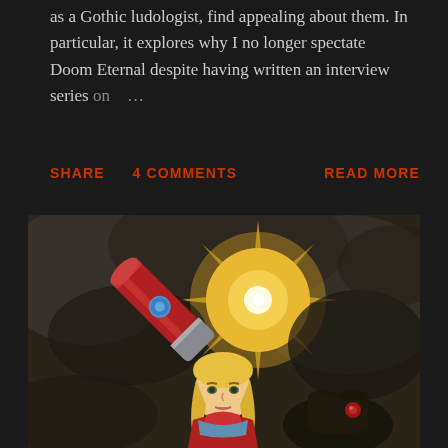as a Gothic ludologist, find appealing about them. In particular, it explores why I no longer spectate Doom Eternal despite having written an interview series on ...
SHARE   4 COMMENTS   READ MORE
[Figure (illustration): Comic-style illustration of a female character in a red and silver armored suit raising her arm cannon toward a glowing yellow sun/light source against a dark cloudy background, with a shadowy creature with a red eye visible in the lower right.]